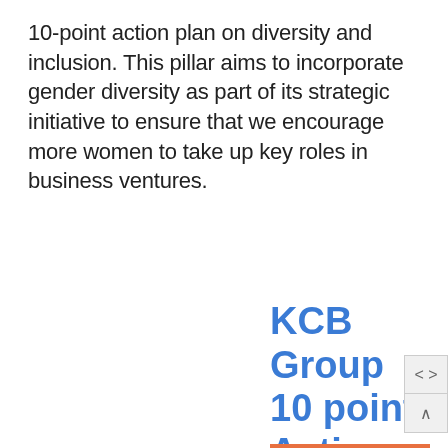10-point action plan on diversity and inclusion. This pillar aims to incorporate gender diversity as part of its strategic initiative to ensure that we encourage more women to take up key roles in business ventures.
KCB Group 10 point Action Plan